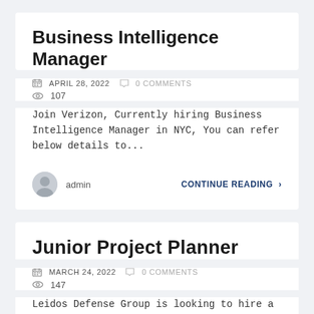Business Intelligence Manager
APRIL 28, 2022  0 COMMENTS  107
Join Verizon, Currently hiring Business Intelligence Manager in NYC, You can refer below details to...
admin  CONTINUE READING >
Junior Project Planner
MARCH 24, 2022  0 COMMENTS  147
Leidos Defense Group is looking to hire a Junior Project Planner in Chesapeake, to apply...
admin